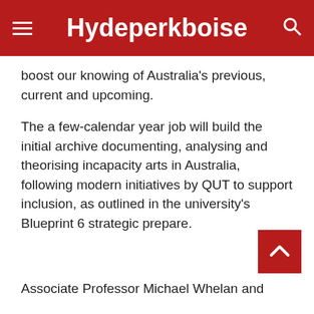Hydeperkboise
boost our knowing of Australia's previous, current and upcoming.
The a few-calendar year job will build the initial archive documenting, analysing and theorising incapacity arts in Australia, following modern initiatives by QUT to support inclusion, as outlined in the university's Blueprint 6 strategic prepare.
Associate Professor Michael Whelan and